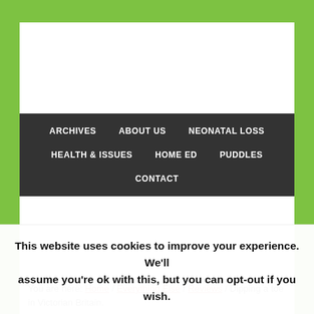ARCHIVES | ABOUT US | NEONATAL LOSS | HEALTH & ISSUES | HOME ED | PUDDLES | CONTACT
You are here: Home / Everything Else / Reviews / Dipping a toe in Victorian Britain.
This website uses cookies to improve your experience. We'll assume you're ok with this, but you can opt-out if you wish. Cookie settings ACCEPT